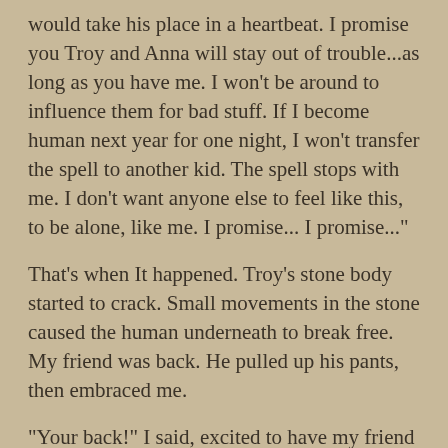would take his place in a heartbeat. I promise you Troy and Anna will stay out of trouble...as long as you have me. I won't be around to influence them for bad stuff. If I become human next year for one night, I won't transfer the spell to another kid. The spell stops with me. I don't want anyone else to feel like this, to be alone, like me. I promise... I promise..."
That's when It happened. Troy's stone body started to crack. Small movements in the stone caused the human underneath to break free. My friend was back. He pulled up his pants, then embraced me.
"Your back!" I said, excited to have my friend return but not understanding.
"I was stone, but I heard what you said." He smiled at me. "You broke the spell. Skies the limit means giving your all, not death. It means putting others ahead of your needs. You were willing to swap places with me.